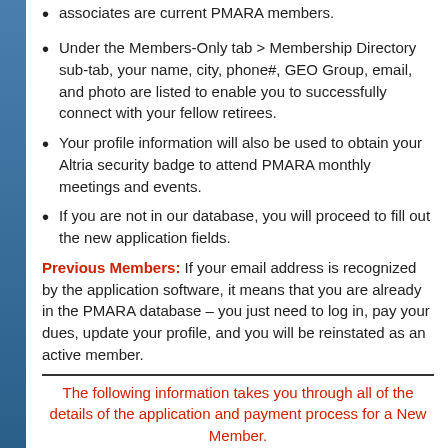Under the Members-Only tab > Membership Directory sub-tab, your name, city, phone#, GEO Group, email, and photo are listed to enable you to successfully connect with your fellow retirees.
Your profile information will also be used to obtain your Altria security badge to attend PMARA monthly meetings and events.
If you are not in our database, you will proceed to fill out the new application fields.
Previous Members: If your email address is recognized by the application software, it means that you are already in the PMARA database – you just need to log in, pay your dues, update your profile, and you will be reinstated as an active member.
The following information takes you through all of the details of the application and payment process for a New Member.
Joining is a three step process: (*denotes required information)
Step 1: Enter your Profile Information